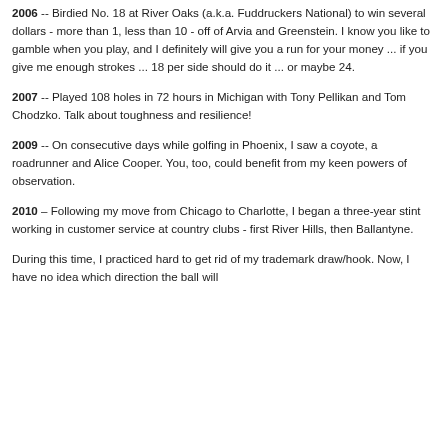2006 -- Birdied No. 18 at River Oaks (a.k.a. Fuddruckers National) to win several dollars - more than 1, less than 10 - off of Arvia and Greenstein. I know you like to gamble when you play, and I definitely will give you a run for your money ... if you give me enough strokes ... 18 per side should do it ... or maybe 24.
2007 -- Played 108 holes in 72 hours in Michigan with Tony Pellikan and Tom Chodzko. Talk about toughness and resilience!
2009 -- On consecutive days while golfing in Phoenix, I saw a coyote, a roadrunner and Alice Cooper. You, too, could benefit from my keen powers of observation.
2010 – Following my move from Chicago to Charlotte, I began a three-year stint working in customer service at country clubs - first River Hills, then Ballantyne.
During this time, I practiced hard to get rid of my trademark draw/hook. Now, I have no idea which direction the ball will